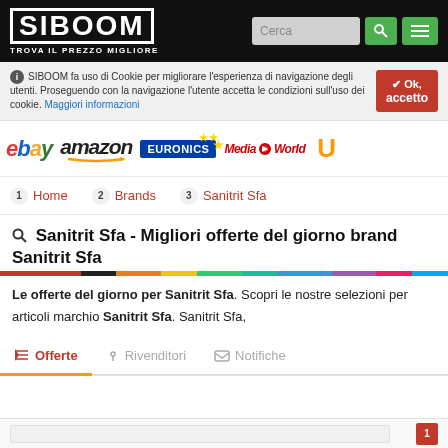SIBOOM TROVA IL PREZZO MIGLIORE
SIBOOM fa uso di Cookie per migliorare l'esperienza di navigazione degli utenti. Proseguendo con la navigazione l'utente accetta le condizioni sull'uso dei cookie. Maggiori informazioni
[Figure (logo): Brand logos: eBay, Amazon, Euronics, MediaWorld, U (partially visible)]
1 Home
2 Brands
3 Sanitrit Sfa
Sanitrit Sfa - Migliori offerte del giorno brand Sanitrit Sfa
Le offerte del giorno per Sanitrit Sfa. Scopri le nostre selezioni per articoli marchio Sanitrit Sfa. Sanitrit Sfa,
Offerte  Rivenditori  Notifiche